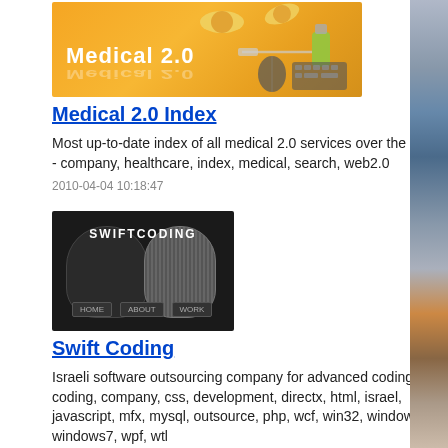[Figure (illustration): Medical 2.0 banner image with orange background showing medical/tech imagery and 'MEDICAL 2.0' text]
Medical 2.0 Index
Most up-to-date index of all medical 2.0 services over the web.
- company, healthcare, index, medical, search, web2.0
2010-04-04 10:18:47
[Figure (illustration): Swift Coding logo/banner with dark background showing brain imagery and 'SWIFTCODING' text]
Swift Coding
Israeli software outsourcing company for advanced coding - c, coding, company, css, development, directx, html, israel, javascript, mfx, mysql, outsource, php, wcf, win32, windows, windows7, wpf, wtl
2010-04-04 10:17:34